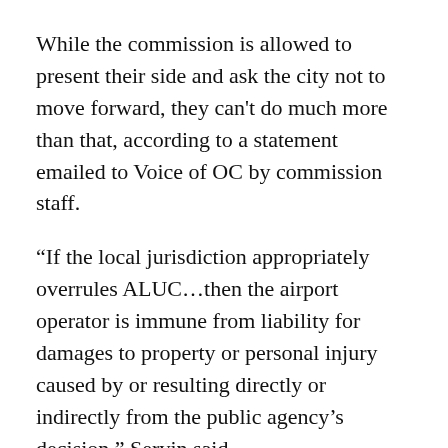While the commission is allowed to present their side and ask the city not to move forward, they can't do much more than that, according to a statement emailed to Voice of OC by commission staff.
“If the local jurisdiction appropriately overrules ALUC…then the airport operator is immune from liability for damages to property or personal injury caused by or resulting directly or indirectly from the public agency’s decision,” Servin said.
Cesar Covarrubias, executive director of the Kennedy Commission, said there aren’t